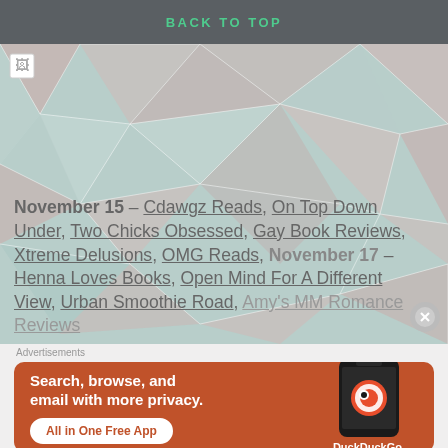BACK TO TOP
[Figure (illustration): Geometric low-poly triangle pattern background in teal/mint and dusty rose colors]
November 15 – Cdawgz Reads, On Top Down Under, Two Chicks Obsessed, Gay Book Reviews, Xtreme Delusions, OMG Reads, November 17 – Henna Loves Books, Open Mind For A Different View, Urban Smoothie Road, Amy's MM Romance Reviews
Advertisements
[Figure (screenshot): DuckDuckGo advertisement banner: 'Search, browse, and email with more privacy. All in One Free App' with DuckDuckGo logo and phone mockup on orange/terracotta background]